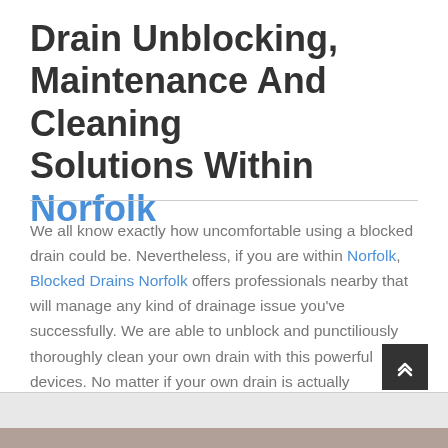Drain Unblocking, Maintenance And Cleaning Solutions Within Norfolk
We all know exactly how uncomfortable using a blocked drain could be. Nevertheless, if you are within Norfolk, Blocked Drains Norfolk offers professionals nearby that will manage any kind of drainage issue you've successfully. We are able to unblock and punctiliously thoroughly clean your own drain with this powerful devices. No matter if your own drain is actually household or even industrial, we have seen this, and glued this, just about all.
[Figure (photo): Partial bottom strip showing an image, partially visible at bottom of page]